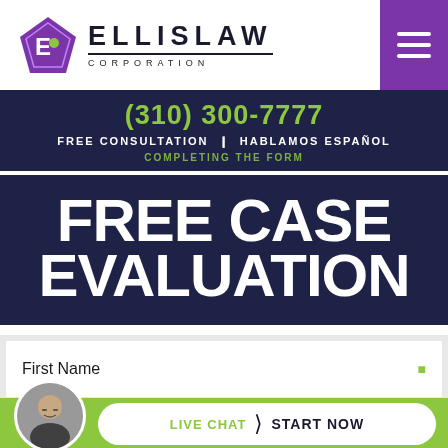[Figure (logo): Ellis Law Corporation logo with purple geometric diamond shape and bold uppercase ELLISLAW text with CORPORATION below]
(310) 300-7777
FREE CONSULTATION ❙ HABLAMOS ESPAÑOL
COMPLETING THE FORM
FREE CASE EVALUATION
First Name
LIVE CHAT › START NOW